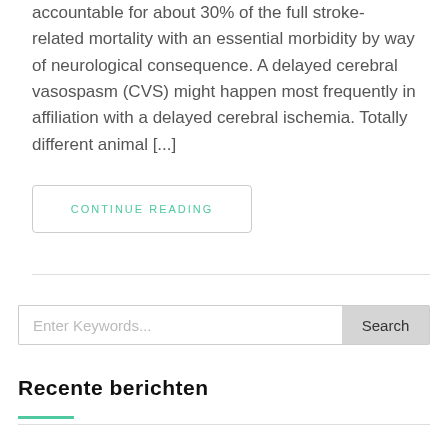accountable for about 30% of the full stroke-related mortality with an essential morbidity by way of neurological consequence. A delayed cerebral vasospasm (CVS) might happen most frequently in affiliation with a delayed cerebral ischemia. Totally different animal [...]
CONTINUE READING
Enter Keywords...
Search
Recente berichten